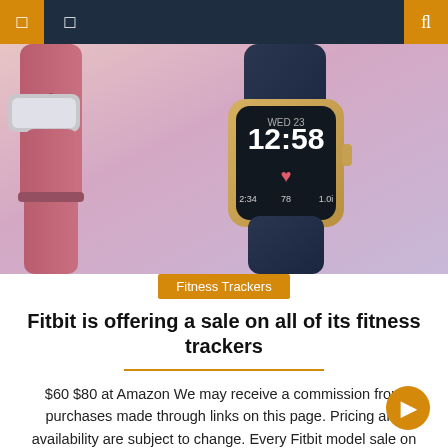navigation header with icons
[Figure (photo): Two Fitbit fitness trackers: one pink/rose colored fitness band on the left and one navy/dark smartwatch with gold case showing time 12:58 on a pink/lavender background]
Fitness Trackers
Fitbit is offering a sale on all of its fitness trackers
$60 $80 at Amazon We may receive a commission from purchases made through links on this page. Pricing and availability are subject to change. Every Fitbit model sale on Amazon! (Photo: Amazon) If you were waiting for a sale on its fitness trackers, this is it — Fitbit